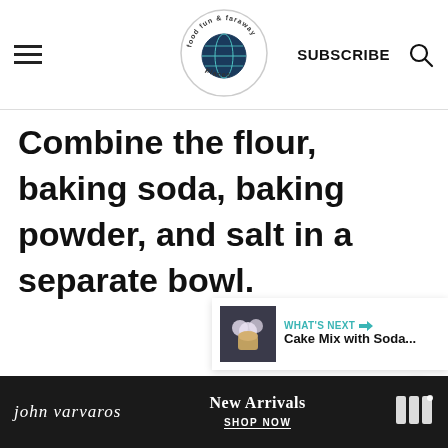food fun & faraway places — SUBSCRIBE
Combine the flour, baking soda, baking powder, and salt in a separate bowl.
[Figure (screenshot): Heart/like button (teal circle with heart icon), share count 3.4K, and share button]
[Figure (screenshot): What's Next panel with cupcake thumbnail image, teal label 'WHAT'S NEXT →', title 'Cake Mix with Soda...']
[Figure (photo): Advertisement bar at bottom: john varvaros brand, New Arrivals SHOP NOW text, logo icon on dark background]